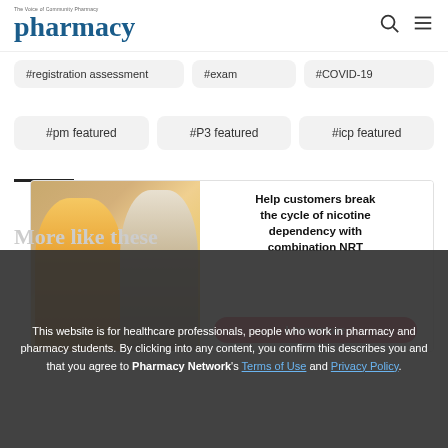pharmacy — The Voice of Community Pharmacy
#registration assessment
#exam
#COVID-19
#pm featured
#P3 featured
#icp featured
[Figure (infographic): Advertisement banner: Help customers break the cycle of nicotine dependency with combination NRT. Learn more button shown.]
This website is for healthcare professionals, people who work in pharmacy and pharmacy students. By clicking into any content, you confirm this describes you and that you agree to Pharmacy Network's Terms of Use and Privacy Policy.
More like these